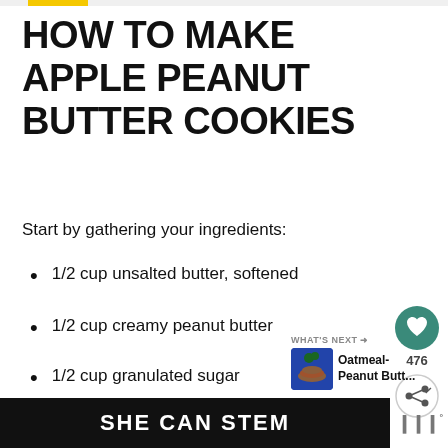HOW TO MAKE APPLE PEANUT BUTTER COOKIES
Start by gathering your ingredients:
1/2 cup unsalted butter, softened
1/2 cup creamy peanut butter
1/2 cup granulated sugar
1/2 cup packed light brown sugar
1 large egg
1/2 t...
[Figure (other): SHE CAN STEM advertisement banner at the bottom of the page]
[Figure (other): Sidebar with heart/like button showing 476 likes, share button, What's Next section showing Oatmeal-Peanut Butt... thumbnail]